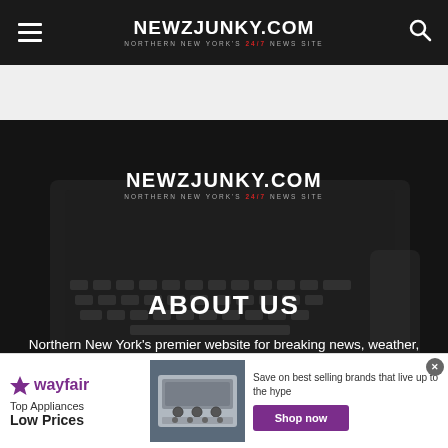NEWZJUNKY.COM — NORTHERN NEW YORK'S 24/7 NEWS SITE
[Figure (screenshot): Hero background image of a laptop keyboard in a dark setting with NEWZJUNKY.COM logo overlay]
ABOUT US
Northern New York's premier website for breaking news, weather, politics, sports, video, photos, audio, and more from Watertown, N.Y.
[Figure (infographic): Wayfair advertisement banner: Top Appliances Low Prices with shop now button]